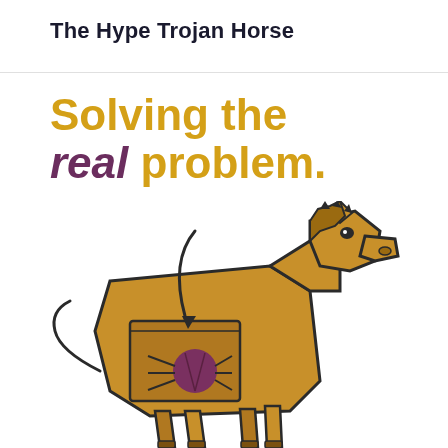The Hype Trojan Horse
Solving the real problem.
[Figure (illustration): A cartoon Trojan horse (golden/tan color with dark outlines) shown in profile facing right. The horse has a rectangular hatch/door drawn on its side with a curved arrow pointing into it, indicating something hidden inside. Inside the hatch area is a purple/dark circle (representing the real problem - a bug/cockroach). The horse has exaggerated blocky limbs and a stylized mane. The illustration is partially cropped at the bottom.]